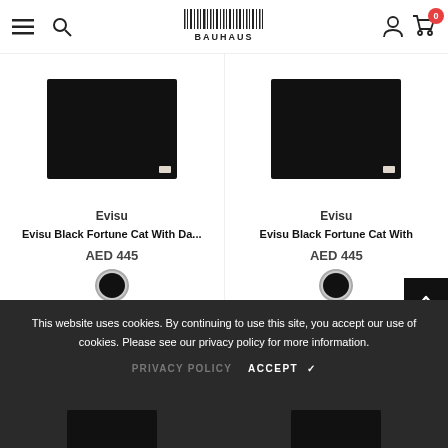BAUHAUS - hamburger menu, search, logo, user account, cart (0)
[Figure (photo): Black knit product image for Evisu Black Fortune Cat item, left product card]
Evisu
Evisu Black Fortune Cat With Da...
AED 445
[Figure (photo): Black knit product image for Evisu Black Fortune Cat item, right product card]
Evisu
Evisu Black Fortune Cat With
AED 445
This website uses cookies. By continuing to use this site, you accept our use of cookies. Please see our privacy policy for more information.
PRIVACY POLICY   ACCEPT ✓